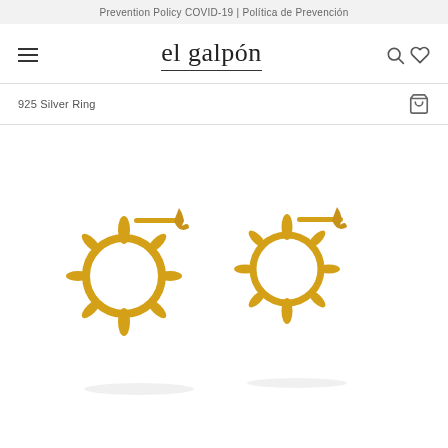Prevention Policy COVID-19 | Política de Prevención
el galpón
925 Silver Ring
[Figure (photo): Two gold sun-shaped hoop earrings with spike/ray details arranged side by side on a white background]